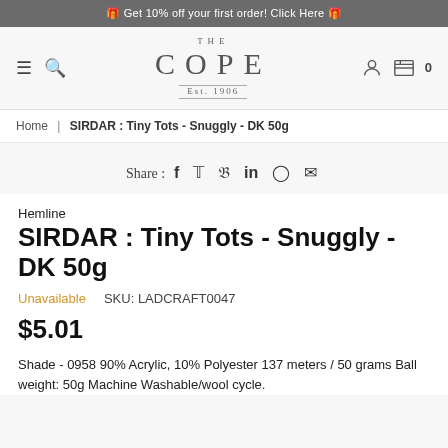🎁 Get 10% off your first order! Click Here 🎁
[Figure (logo): THE COPE Est. 1906 logo with hamburger menu and search icons on left, account and cart icons on right]
Home | SIRDAR : Tiny Tots - Snuggly - DK 50g
Share : f  𝕏  p  in  ⊕  ✉
Hemline
SIRDAR : Tiny Tots - Snuggly - DK 50g
Unavailable    SKU: LADCRAFT0047
$5.01
Shade - 0958 90% Acrylic, 10% Polyester 137 meters / 50 grams Ball weight: 50g Machine Washable/wool cycle.